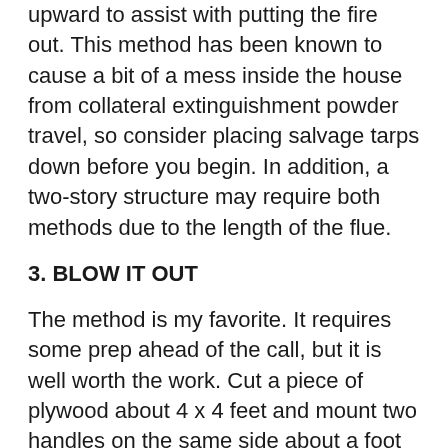upward to assist with putting the fire out. This method has been known to cause a bit of a mess inside the house from collateral extinguishment powder travel, so consider placing salvage tarps down before you begin. In addition, a two-story structure may require both methods due to the length of the flue.
3. BLOW IT OUT
The method is my favorite. It requires some prep ahead of the call, but it is well worth the work. Cut a piece of plywood about 4 x 4 feet and mount two handles on the same side about a foot in from two parallel sides in the middle.
This method requires a positive-pressure fan to work well. Prior to using the PPV, ensure your team has located the seat of the fire and is not concerned about fire outside the flue or firebox. Ensure all other openings